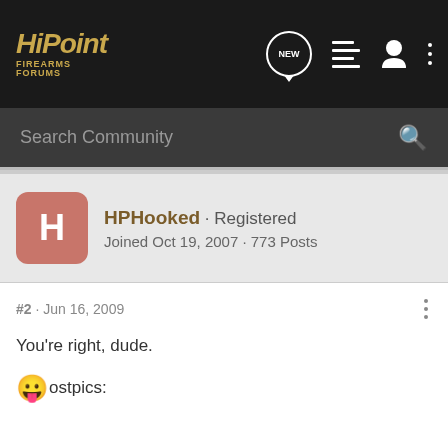[Figure (logo): HiPoint Firearms Forums logo in gold italic text on dark background nav bar with icons]
Search Community
HPHooked · Registered
Joined Oct 19, 2007 · 773 Posts
#2 · Jun 16, 2009
You're right, dude.
😛ostpics: